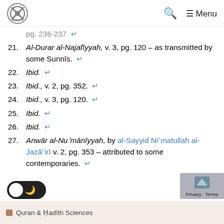Logo | Search | Menu
pg. 236-237 ↵
21. Al-Durar al-Najafīyyah, v. 3, pg. 120 – as transmitted by some Sunnīs. ↵
22. Ibid. ↵
23. Ibid., v. 2, pg. 352. ↵
24. Ibid., v. 3, pg. 120. ↵
25. Ibid. ↵
26. Ibid. ↵
27. Anwār al-Nuʿmānīyyah, by al-Sayyid Niʿmatullah al-Jazāʾirī v. 2, pg. 353 – attributed to some contemporaries. ↵
Quran & Hadīth Sciences